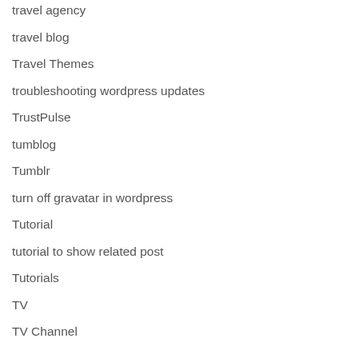travel agency
travel blog
Travel Themes
troubleshooting wordpress updates
TrustPulse
tumblog
Tumblr
turn off gravatar in wordpress
Tutorial
tutorial to show related post
Tutorials
TV
TV Channel